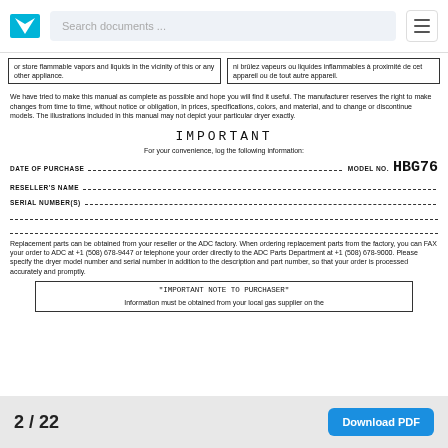or store flammable vapors and liquids in the vicinity of this or any other appliance.
ni brûlez vapeurs ou liquides inflammables à proximité de cet appareil ou de tout autre appareil.
We have tried to make this manual as complete as possible and hope you will find it useful. The manufacturer reserves the right to make changes from time to time, without notice or obligation, in prices, specifications, colors, and material, and to change or discontinue models. The illustrations included in this manual may not depict your particular dryer exactly.
IMPORTANT
For your convenience, log the following information:
DATE OF PURCHASE _________________________________ MODEL NO. HBG76
RESELLER'S NAME ___________________________________________
SERIAL NUMBER(S) __________________________________________
Replacement parts can be obtained from your reseller or the ADC factory. When ordering replacement parts from the factory, you can FAX your order to ADC at +1 (508) 678-9447 or telephone your order directly to the ADC Parts Department at +1 (508) 678-9000. Please specify the dryer model number and serial number in addition to the description and part number, so that your order is processed accurately and promptly.
"IMPORTANT NOTE TO PURCHASER" Information must be obtained from your local gas supplier on the